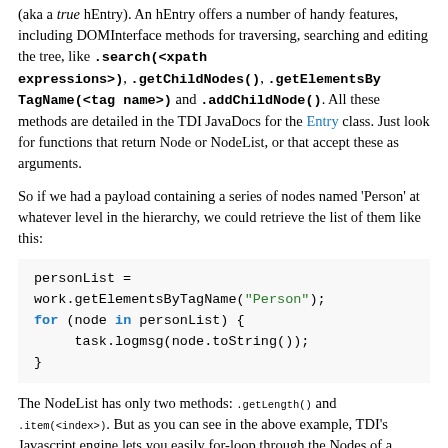(aka a true hEntry). An hEntry offers a number of handy features, including DOMInterface methods for traversing, searching and editing the tree, like .search(<xpath expressions>), .getChildNodes(), .getElementsByTagName(<tag name>) and .addChildNode(). All these methods are detailed in the TDI JavaDocs for the Entry class. Just look for functions that return Node or NodeList, or that accept these as arguments.
So if we had a payload containing a series of nodes named 'Person' at whatever level in the hierarchy, we could retrieve the list of them like this:
personList = work.getElementsByTagName("Person");
for (node in personList) {
    task.logmsg(node.toString());
}
The NodeList has only two methods: .getLength() and .item(<index>). But as you can see in the above example, TDI's Javascript engine lets you easily for-loop through the Nodes of a NodeList. You can also use square brackets to reference list members as myList[0].